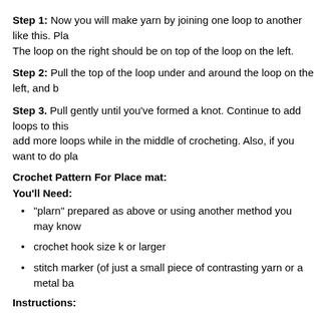Step 1: Now you will make yarn by joining one loop to another like this. Place the loop on the right should be on top of the loop on the left.
Step 2: Pull the top of the loop under and around the loop on the left, and b
Step 3. Pull gently until you've formed a knot. Continue to add loops to this add more loops while in the middle of crocheting. Also, if you want to do pla
Crochet Pattern For Place mat:
You'll Need:
"plarn" prepared as above or using another method you may know
crochet hook size k or larger
stitch marker (of just a small piece of contrasting yarn or a metal ba
Instructions:
This project is crocheted in a spiral formation. When you are crocheting the is advisable to use a stitch marker.
Round 1: ch2, 6sc in 2nd chain from hook (ch=chain sc=single cro
Round 2: Crochet 2sc in each sc = 12 sc
Round 3: Crochet sc in next sc, crochet 2sc in next sc, repeat arou